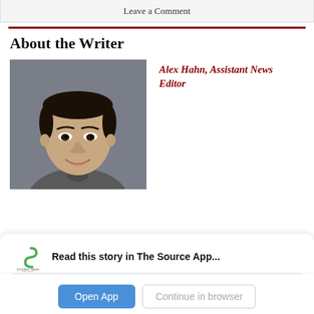Leave a Comment
About the Writer
[Figure (photo): Headshot of Alex Hahn, a young man with dark hair, smiling, wearing a grey zip-up fleece, against a grey background.]
Alex Hahn, Assistant News Editor
Read this story in The Source App...
Open App
Continue in browser